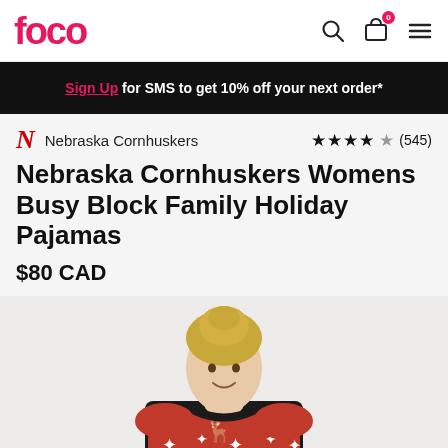FOCO
Sign Up for SMS to get 10% off your next order*
Nebraska Cornhuskers  ★★★★★ (545)
Nebraska Cornhuskers Womens Busy Block Family Holiday Pajamas
$80 CAD
[Figure (photo): Woman wearing red, black and white Nebraska Cornhuskers holiday pajama top with reindeer and snowflake pattern]